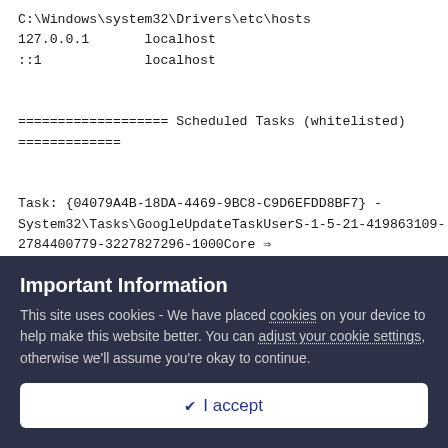C:\Windows\system32\Drivers\etc\hosts
127.0.0.1       localhost
::1             localhost

=================== Scheduled Tasks (whitelisted)
=============

Task: {04079A4B-18DA-4469-9BC8-C9D6EFDD8BF7} -
System32\Tasks\GoogleUpdateTaskUserS-1-5-21-419863109-
2784400779-3227827296-1000Core => C:\Users\Payne\AppData\Local\Google\Update\GoogleUpdate.exe
[2011-09-21] (Google Inc.)
Task: {11E41CBE-1739-4729-B2E3-DB6C504B464B} -
Important Information
This site uses cookies - We have placed cookies on your device to help make this website better. You can adjust your cookie settings, otherwise we'll assume you're okay to continue.
✔  I accept